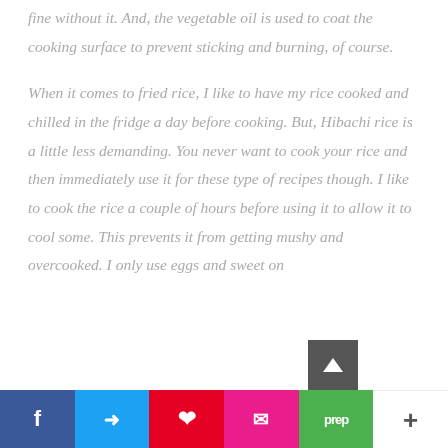fine without it. And, the vegetable oil is used to coat the cooking surface to prevent sticking and burning, of course.
When it comes to fried rice, I like to have my rice cooked and chilled in the fridge a day before cooking. But, Hibachi rice is a little less demanding. You never want to cook your rice and then immediately use it for these type of recipes though. I like to cook the rice a couple of hours before using it to allow it to cool some. This prevents it from getting mushy and overcooked. I only use eggs and sweet on [obscured] my